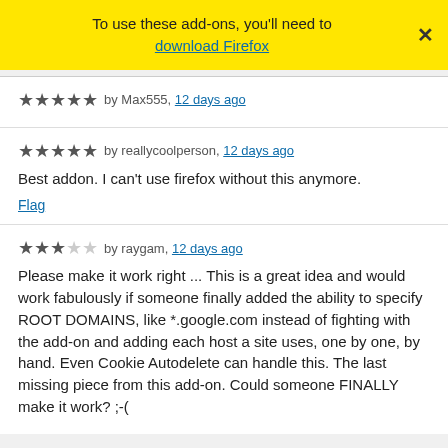To use these add-ons, you'll need to download Firefox
★★★★★ by Max555, 12 days ago
★★★★★ by reallycoolperson, 12 days ago
Best addon. I can't use firefox without this anymore.
Flag
★★☆☆☆ by raygam, 12 days ago
Please make it work right ... This is a great idea and would work fabulously if someone finally added the ability to specify ROOT DOMAINS, like *.google.com instead of fighting with the add-on and adding each host a site uses, one by one, by hand. Even Cookie Autodelete can handle this. The last missing piece from this add-on. Could someone FINALLY make it work? ;-(